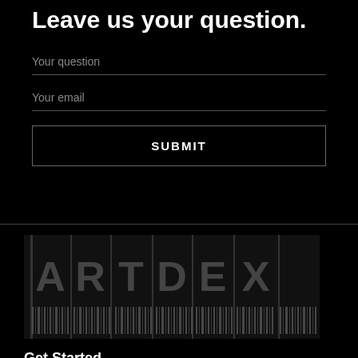Leave us your question.
Your question
Your email
SUBMIT
[Figure (logo): ARTDEX logo with barcode-style vertical lines below letters A R T D E X separated by vertical dividers]
Get Started